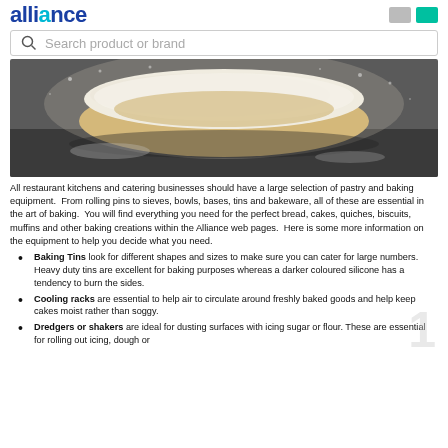Alliance — Search product or brand
[Figure (photo): A floured dough roll on a dark surface with flour dust flying around it]
All restaurant kitchens and catering businesses should have a large selection of pastry and baking equipment. From rolling pins to sieves, bowls, bases, tins and bakeware, all of these are essential in the art of baking. You will find everything you need for the perfect bread, cakes, quiches, biscuits, muffins and other baking creations within the Alliance web pages. Here is some more information on the equipment to help you decide what you need.
Baking Tins look for different shapes and sizes to make sure you can cater for large numbers. Heavy duty tins are excellent for baking purposes whereas a darker coloured silicone has a tendency to burn the sides.
Cooling racks are essential to help air to circulate around freshly baked goods and help keep cakes moist rather than soggy.
Dredgers or shakers are ideal for dusting surfaces with icing sugar or flour. These are essential for rolling out icing, dough or